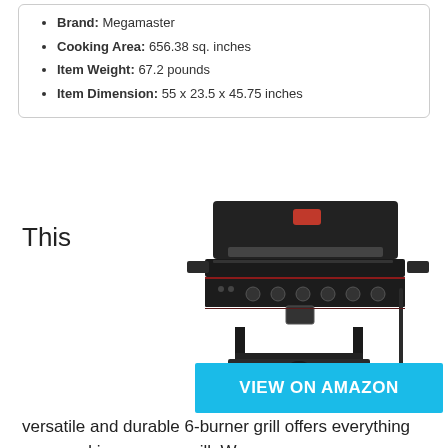Brand: Megamaster
Cooking Area: 656.38 sq. inches
Item Weight: 67.2 pounds
Item Dimension: 55 x 23.5 x 45.75 inches
This
[Figure (photo): Megamaster 6-burner gas grill, black, viewed from front-left angle, with lid closed, showing control knobs, side shelves, bottom storage shelf, and wheels]
[Figure (infographic): Blue button reading VIEW ON AMAZON in bold white capital letters]
versatile and durable 6-burner grill offers everything you need in your gas grill. We